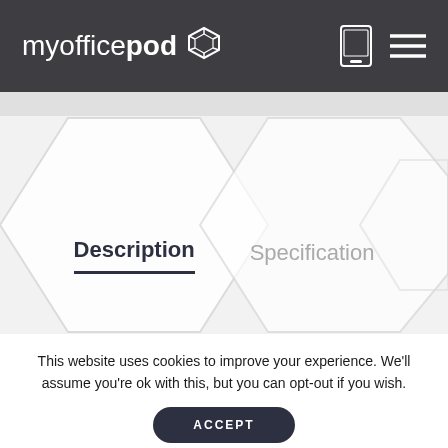myofficepod
[Figure (screenshot): Hexagonal background pattern with Description and Specification tab navigation. Description tab is active with dark underline.]
Description
Specification
This website uses cookies to improve your experience. We'll assume you're ok with this, but you can opt-out if you wish.
ACCEPT